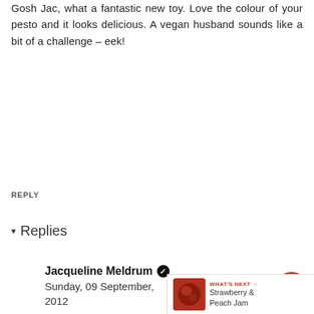Gosh Jac, what a fantastic new toy. Love the colour of your pesto and it looks delicious. A vegan husband sounds like a bit of a challenge - eek!
REPLY
▾ Replies
Jacqueline Meldrum ✓
Sunday, 09 September, 2012
It is a bit of a challenge sometimes. Although a lot of my dishes are ok for him. I offered to make him a chocolate cake tonight and he turned me down. Sheesh!
[Figure (other): WHAT'S NEXT banner with strawberry jam image thumbnail and text: Strawberry & Peach Jam]